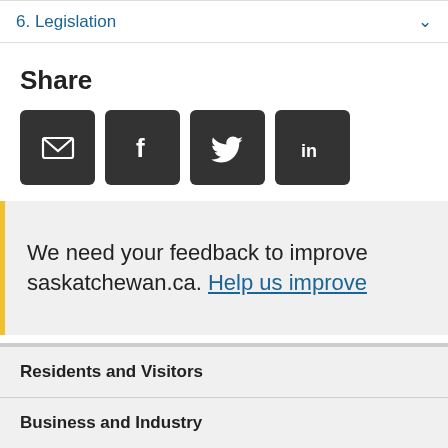6. Legislation
Share
[Figure (other): Social sharing icons: email, Facebook, Twitter, LinkedIn]
We need your feedback to improve saskatchewan.ca. Help us improve
Residents and Visitors
Business and Industry
Government